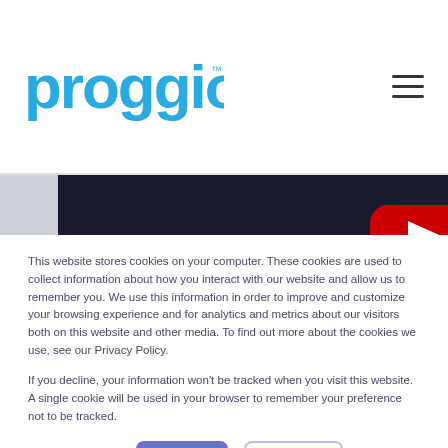proggio
[Figure (screenshot): Video thumbnail showing a computer monitor and a hand holding a remote, with a YouTube play button overlay (red arc shape) visible in the center]
This website stores cookies on your computer. These cookies are used to collect information about how you interact with our website and allow us to remember you. We use this information in order to improve and customize your browsing experience and for analytics and metrics about our visitors both on this website and other media. To find out more about the cookies we use, see our Privacy Policy.
If you decline, your information won't be tracked when you visit this website. A single cookie will be used in your browser to remember your preference not to be tracked.
Cookie Settings  Accept  Decline